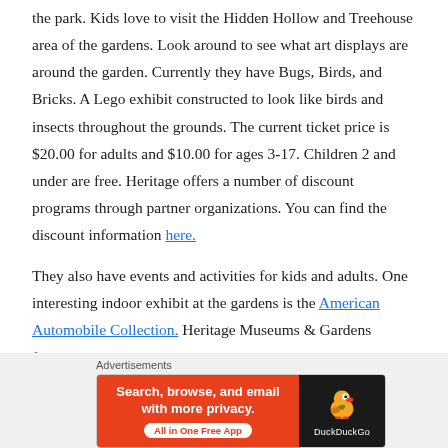the park. Kids love to visit the Hidden Hollow and Treehouse area of the gardens. Look around to see what art displays are around the garden. Currently they have Bugs, Birds, and Bricks. A Lego exhibit constructed to look like birds and insects throughout the grounds. The current ticket price is $20.00 for adults and $10.00 for ages 3-17. Children 2 and under are free. Heritage offers a number of discount programs through partner organizations. You can find the discount information here.
They also have events and activities for kids and adults. One interesting indoor exhibit at the gardens is the American Automobile Collection. Heritage Museums & Gardens features 41 outstanding
Advertisements
[Figure (other): DuckDuckGo advertisement banner: orange left panel with text 'Search, browse, and email with more privacy. All in One Free App' and dark right panel with DuckDuckGo duck logo and brand name.]